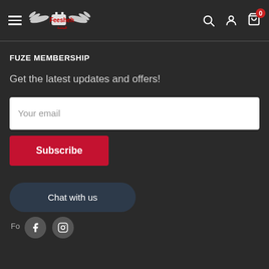Feesheh - Navigation header with hamburger menu, logo, search, account, and cart icons
FUZE MEMBERSHIP
Get the latest updates and offers!
Your email
Subscribe
Chat with us
Fo